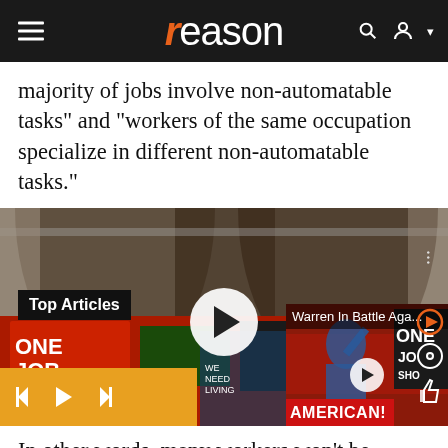reason
majority of jobs involve non-automatable tasks" and "workers of the same occupation specialize in different non-automatable tasks."
[Figure (screenshot): Embedded video player showing a protest scene with 'Top Articles' label, a large play button, and a secondary video thumbnail for 'Warren In Battle Aga...' with ONE JOB and AMERICAN protest signs visible.]
In other words, many workers won't be displaced; they'll